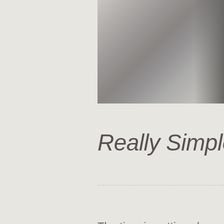[Figure (photo): Grayscale photo partially visible in the upper right portion of the page, cropped at left and bottom edges]
Really Simple S
The time is getting closer and good and it's about time I wro everyone going to go from he Feedly, at least for now, but I prefer to follow the web using Flipboard magazine? A dedica Facebook fan page type thing